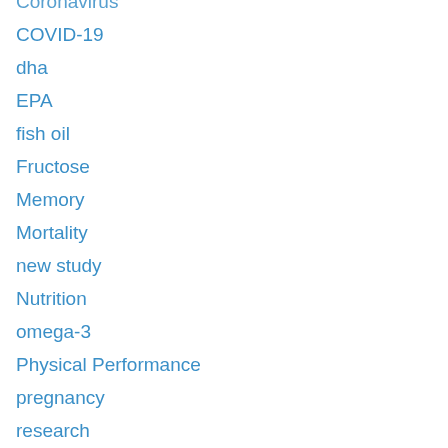Coronavirus
COVID-19
dha
EPA
fish oil
Fructose
Memory
Mortality
new study
Nutrition
omega-3
Physical Performance
pregnancy
research
study